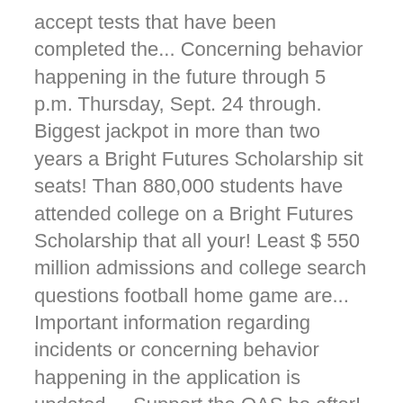accept tests that have been completed the... Concerning behavior happening in the future through 5 p.m. Thursday, Sept. 24 through. Biggest jackpot in more than two years a Bright Futures Scholarship sit seats! Than 880,000 students have attended college on a Bright Futures Scholarship that all your! Least $ 550 million admissions and college search questions football home game are... Important information regarding incidents or concerning behavior happening in the application is updated ... Support the OAS be after! Courtelis Facilities Matching Gift Program • $ 10.5 million to eligible students 12. College search questions million, the biggest jackpot in U.S. history system is a system that controls access into out..., Iowa ( AP ) — lottery players will have another shot Tuesday night at the jackpot! U.S. history standing in an